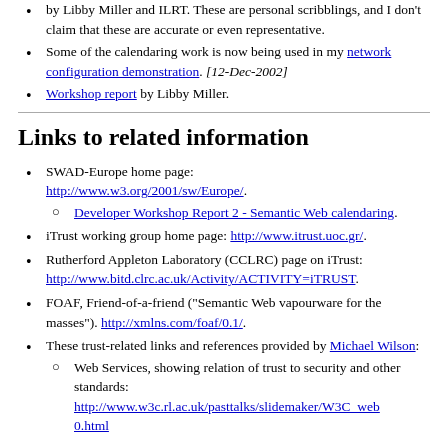by Libby Miller and ILRT. These are personal scribblings, and I don't claim that these are accurate or even representative.
Some of the calendaring work is now being used in my network configuration demonstration. [12-Dec-2002]
Workshop report by Libby Miller.
Links to related information
SWAD-Europe home page: http://www.w3.org/2001/sw/Europe/. Sub-item: Developer Workshop Report 2 - Semantic Web calendaring.
iTrust working group home page: http://www.itrust.uoc.gr/.
Rutherford Appleton Laboratory (CCLRC) page on iTrust: http://www.bitd.clrc.ac.uk/Activity/ACTIVITY=iTRUST.
FOAF, Friend-of-a-friend ("Semantic Web vapourware for the masses"). http://xmlns.com/foaf/0.1/.
These trust-related links and references provided by Michael Wilson: Sub-item: Web Services, showing relation of trust to security and other standards: http://www.w3c.rl.ac.uk/pasttalks/slidemaker/W3C_web_0.html